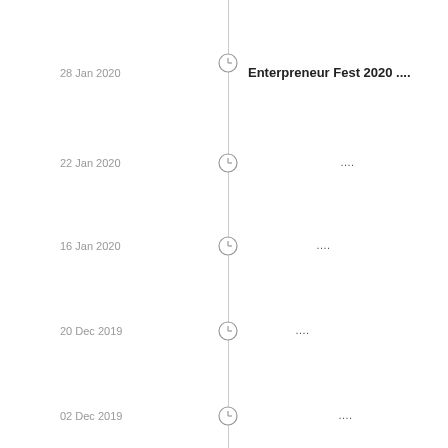28 Jan 2020 — Enterpreneur Fest 2020 ....
22 Jan 2020 — ....
16 Jan 2020 — ....
20 Dec 2019 — ....
02 Dec 2019 — ....
28 Nov 2019 — ....
19 Nov 2019 — , ....
13 Nov 2019 — ....
13 Nov 2019 — ....